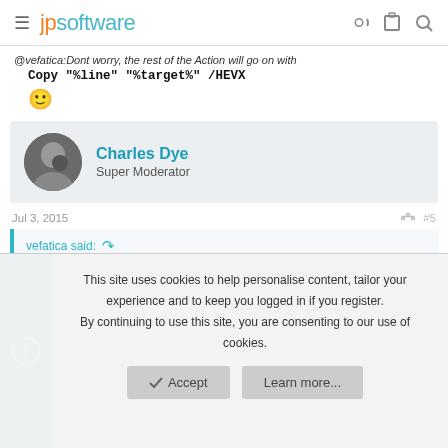jpsoftware
@vefatica:Dont worry, the rest of the Action will go on with
Copy "%line" "%target%" /HEVX
🙂
Charles Dye
Super Moderator
Jul 3, 2015
#5
vefatica said:
This site uses cookies to help personalise content, tailor your experience and to keep you logged in if you register.
By continuing to use this site, you are consenting to our use of cookies.
Accept
Learn more...